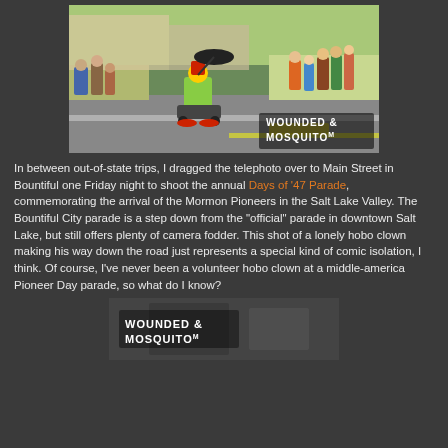[Figure (photo): A clown riding a small motorized vehicle (go-kart style) down a parade street. People are seated along the sidewalk watching. The clown wears colorful costume with a red hat and holds an umbrella. A watermark reads WOUNDED MOSQUITO in the bottom right corner.]
In between out-of-state trips, I dragged the telephoto over to Main Street in Bountiful one Friday night to shoot the annual Days of '47 Parade, commemorating the arrival of the Mormon Pioneers in the Salt Lake Valley. The Bountiful City parade is a step down from the "official" parade in downtown Salt Lake, but still offers plenty of camera fodder. This shot of a lonely hobo clown making his way down the road just represents a special kind of comic isolation, I think. Of course, I've never been a volunteer hobo clown at a middle-america Pioneer Day parade, so what do I know?
[Figure (photo): Partial view of a second photo with WOUNDED MOSQUITO watermark visible, black and white image.]